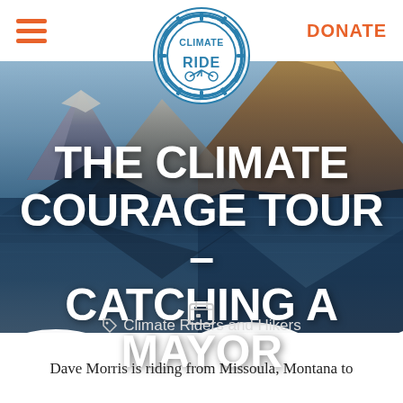DONATE
[Figure (logo): Climate Ride circular gear logo with bicycle gear ring border and text CLIMATE RIDE inside, in blue and white]
[Figure (photo): Mountain landscape with snow-capped peaks reflected in a lake at golden hour, used as hero background image]
THE CLIMATE COURAGE TOUR – CATCHING A MAYOR
Climate Riders and Hikers
Dave Morris is riding from Missoula, Montana to